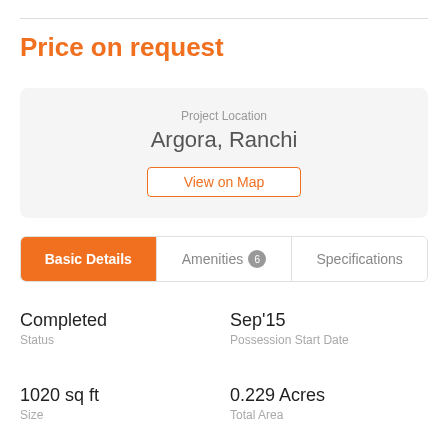Price on request
Project Location
Argora, Ranchi
View on Map
Basic Details
Amenities 6
Specifications
Completed
Status
Sep'15
Possession Start Date
1020 sq ft
Size
0.229 Acres
Total Area